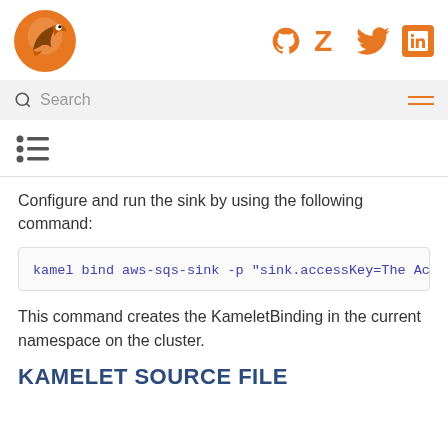Camel logo and social icons (GitHub, Zulip, Twitter, LinkedIn)
Search
[Figure (other): List/TOC icon (horizontal lines with dots)]
Configure and run the sink by using the following command:
kamel bind aws-sqs-sink -p "sink.accessKey=The Acc
This command creates the KameletBinding in the current namespace on the cluster.
KAMELET SOURCE FILE